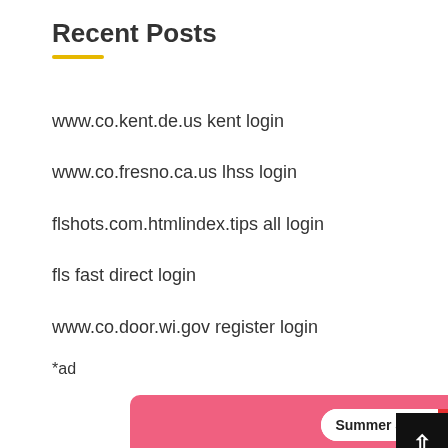Recent Posts
www.co.kent.de.us kent login
www.co.fresno.ca.us lhss login
flshots.com.htmlindex.tips all login
fls fast direct login
www.co.door.wi.gov register login
*ad
[Figure (infographic): AliExpress Summer Sale advertisement banner with pink background. Shows 'Summer Sale AliExpress' pill badge, 'Official picks' heading, and 'Shop now' button.]